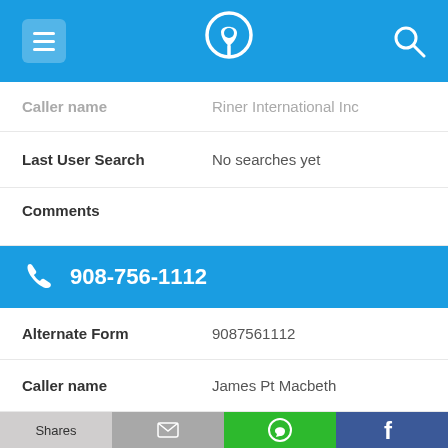[Figure (screenshot): Mobile app top navigation bar with menu icon, phone/location logo, and search icon on blue background]
Caller name   Riner International Inc
Last User Search   No searches yet
Comments
908-756-1112
Alternate Form   9087561112
Caller name   James Pt Macbeth
Last User Search   No searches yet
[Figure (screenshot): Bottom action bar with four buttons: Shares (light gray), email icon (gray), WhatsApp icon (green), Facebook icon (dark blue)]